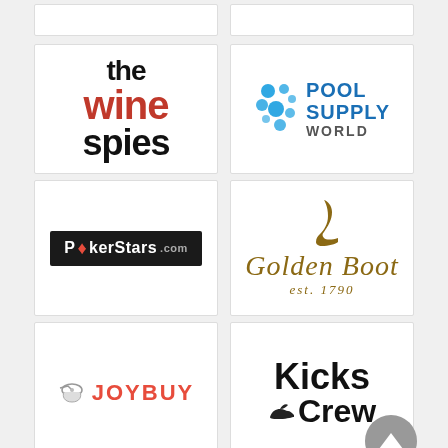[Figure (logo): The Wine Spies logo - black and red bold text]
[Figure (logo): Pool Supply World logo - blue text with water droplet bubbles graphic]
[Figure (logo): PokerStars.com logo - white text on black background with red star]
[Figure (logo): Golden Boot est. 1790 logo - gold/brown script text with boot icon]
[Figure (logo): JoyBuy logo - red bold text with bird icon]
[Figure (logo): Kicks Crew logo - bold black text with shoe icon]